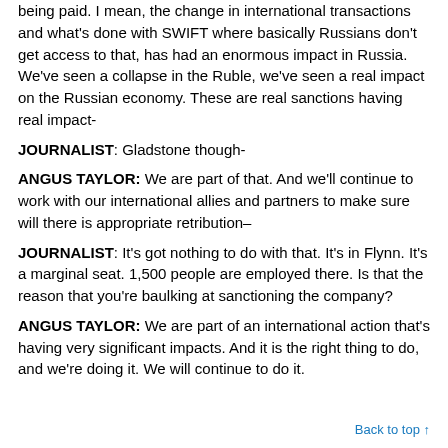being paid. I mean, the change in international transactions and what's done with SWIFT where basically Russians don't get access to that, has had an enormous impact in Russia. We've seen a collapse in the Ruble, we've seen a real impact on the Russian economy. These are real sanctions having real impact-
JOURNALIST: Gladstone though-
ANGUS TAYLOR: We are part of that. And we'll continue to work with our international allies and partners to make sure will there is appropriate retribution–
JOURNALIST: It's got nothing to do with that. It's in Flynn. It's a marginal seat. 1,500 people are employed there. Is that the reason that you're baulking at sanctioning the company?
ANGUS TAYLOR: We are part of an international action that's having very significant impacts. And it is the right thing to do, and we're doing it. We will continue to do it.
Back to top ↑